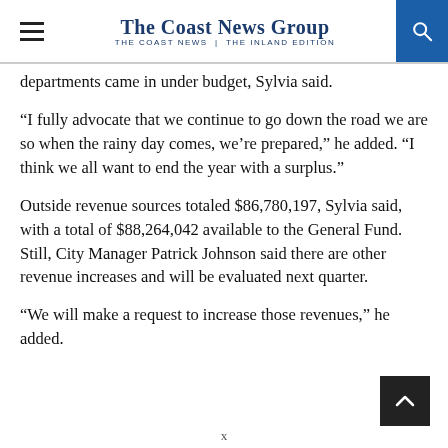The Coast News Group | The Coast News | The Inland Edition
departments came in under budget, Sylvia said.
“I fully advocate that we continue to go down the road we are so when the rainy day comes, we’re prepared,” he added. “I think we all want to end the year with a surplus.”
Outside revenue sources totaled $86,780,197, Sylvia said, with a total of $88,264,042 available to the General Fund. Still, City Manager Patrick Johnson said there are other revenue increases and will be evaluated next quarter.
“We will make a request to increase those revenues,” he added.